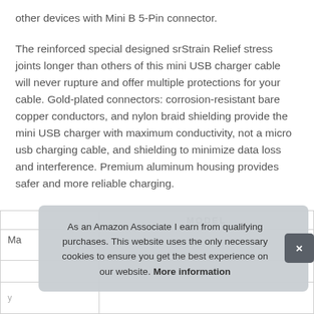other devices with Mini B 5-Pin connector.
The reinforced special designed srStrain Relief stress joints longer than others of this mini USB charger cable will never rupture and offer multiple protections for your cable. Gold-plated connectors: corrosion-resistant bare copper conductors, and nylon braid shielding provide the mini USB charger with maximum conductivity, not a micro usb charging cable, and shielding to minimize data loss and interference. Premium aluminum housing provides safer and more reliable charging.
|  | MODEL |
| --- | --- |
| Ma |  |
|  |  |
As an Amazon Associate I earn from qualifying purchases. This website uses the only necessary cookies to ensure you get the best experience on our website. More information